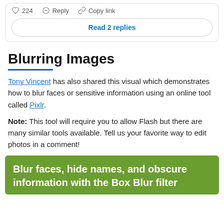[Figure (screenshot): Social media comment action bar with heart icon showing 224 likes, Reply button, and Copy link button, with a 'Read 2 replies' button below]
Blurring Images
Tony Vincent has also shared this visual which demonstrates how to blur faces or sensitive information using an online tool called Pixlr.
Note: This tool will require you to allow Flash but there are many similar tools available. Tell us your favorite way to edit photos in a comment!
[Figure (infographic): Green banner image with white bold text: Blur faces, hide names, and obscure information with the Box Blur filter]